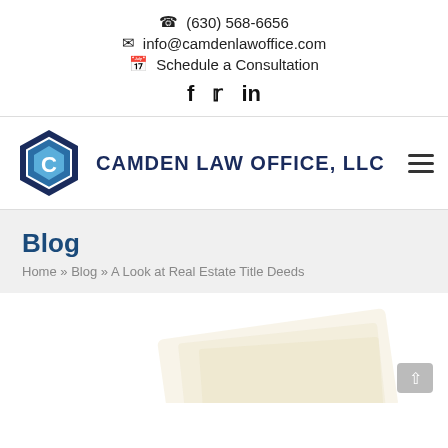(630) 568-6656
info@camdenlawoffice.com
Schedule a Consultation
[Figure (logo): Camden Law Office LLC logo with hexagonal icon and firm name]
Blog
Home » Blog » A Look at Real Estate Title Deeds
[Figure (photo): Partial image of real estate document at bottom of page]